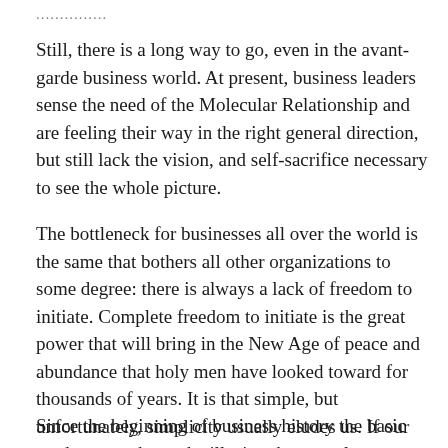...............
Still, there is a long way to go, even in the avant-garde business world. At present, business leaders sense the need of the Molecular Relationship and are feeling their way in the right general direction, but still lack the vision, and self-sacrifice necessary to see the whole picture.
The bottleneck for businesses all over the world is the same that bothers all other organizations to some degree: there is always a lack of freedom to initiate. Complete freedom to initiate is the great power that will bring in the New Age of peace and abundance that holy men have looked toward for thousands of years. It is that simple, but unfortunately, simplicity usually eludes us. If our eyes are caught on the illusion then we always see the complex. If our eyes see the real, we see the simplicity behind all things, no matter how diverse they may be.
Since the beginning of business history the basic mode